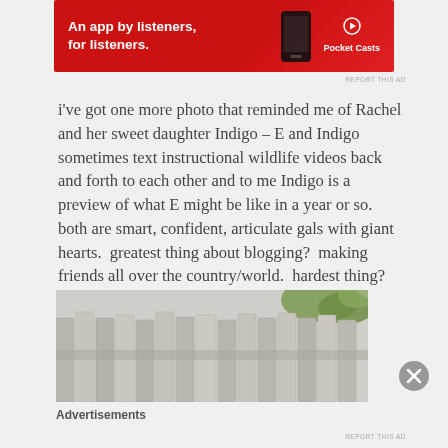[Figure (photo): Pocket Casts advertisement banner — red background with white bold text 'An app by listeners, for listeners.' and Pocket Casts logo on the right with a phone graphic]
REPORT THIS AD
i've got one more photo that reminded me of Rachel and her sweet daughter Indigo – E and Indigo sometimes text instructional wildlife videos back and forth to each other and to me Indigo is a preview of what E might be like in a year or so.  both are smart, confident, articulate gals with giant hearts.  greatest thing about blogging?  making friends all over the country/world.  hardest thing?  living so darn far away from most of them!
[Figure (photo): A row of weathered grey wooden fence pickets with some green foliage visible at the top right]
Advertisements
REPORT THIS AD